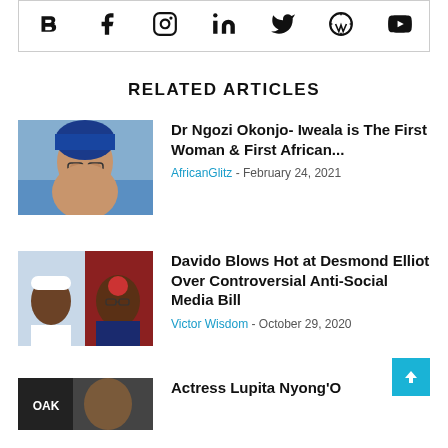[Figure (other): Social media icons bar: Blogger, Facebook, Instagram, LinkedIn, Twitter, WordPress, YouTube]
RELATED ARTICLES
[Figure (photo): Dr Ngozi Okonjo-Iweala portrait photo]
Dr Ngozi Okonjo- Iweala is The First Woman & First African...
AfricanGlitz - February 24, 2021
[Figure (photo): Davido and Desmond Elliot composite photo]
Davido Blows Hot at Desmond Elliot Over Controversial Anti-Social Media Bill
Victor Wisdom - October 29, 2020
[Figure (photo): Actress Lupita Nyong'o partial thumbnail]
Actress Lupita Nyong'O